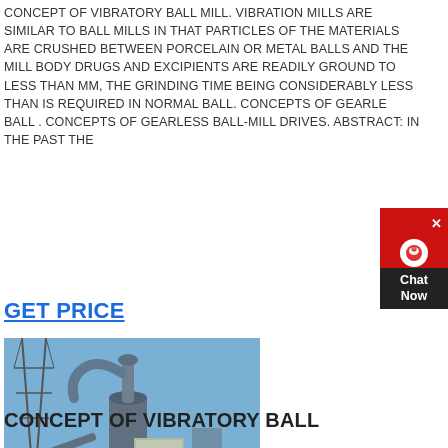CONCEPT OF VIBRATORY BALL MILL. VIBRATION MILLS ARE SIMILAR TO BALL MILLS IN THAT PARTICLES OF THE MATERIALS ARE CRUSHED BETWEEN PORCELAIN OR METAL BALLS AND THE MILL BODY DRUGS AND EXCIPIENTS ARE READILY GROUND TO LESS THAN MM, THE GRINDING TIME BEING CONSIDERABLY LESS THAN IS REQUIRED IN NORMAL BALL. CONCEPTS OF GEARLESS BALL . CONCEPTS OF GEARLESS BALL-MILL DRIVES. ABSTRACT: IN THE PAST THE
GET PRICE
[Figure (photo): Outdoor industrial milling facility showing a large vertical mill tower with cyclone separator, conveyor belts, and a red forklift operating nearby on a dusty white ground surface. Blue sky background with electrical transmission tower visible.]
CONCEPT OF VIBRATORY BALL